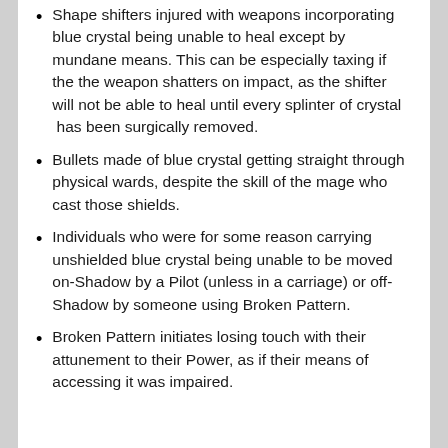Shape shifters injured with weapons incorporating blue crystal being unable to heal except by mundane means. This can be especially taxing if the the weapon shatters on impact, as the shifter will not be able to heal until every splinter of crystal  has been surgically removed.
Bullets made of blue crystal getting straight through physical wards, despite the skill of the mage who cast those shields.
Individuals who were for some reason carrying unshielded blue crystal being unable to be moved on-Shadow by a Pilot (unless in a carriage) or off-Shadow by someone using Broken Pattern.
Broken Pattern initiates losing touch with their attunement to their Power, as if their means of accessing it was impaired.